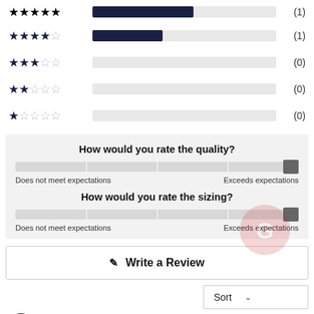[Figure (bar-chart): Star rating distribution]
How would you rate the quality?
[Figure (infographic): Horizontal slider from Does not meet expectations to Exceeds expectations, handle at far right]
How would you rate the sizing?
[Figure (infographic): Horizontal slider from Does not meet expectations to Exceeds expectations, handle at far right]
Write a Review
Sort
Sue N. Verified Buyer 03/03/2022